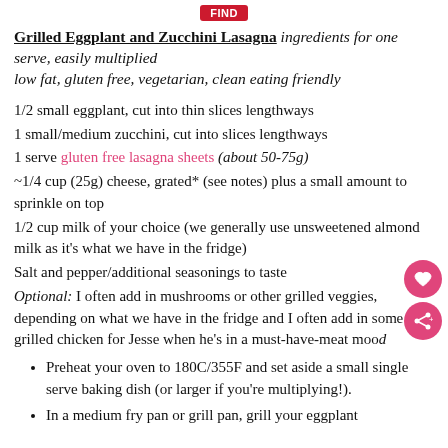[Figure (logo): Small red badge/button at top center]
Grilled Eggplant and Zucchini Lasagna ingredients for one serve, easily multiplied
low fat, gluten free, vegetarian, clean eating friendly
1/2 small eggplant, cut into thin slices lengthways
1 small/medium zucchini, cut into slices lengthways
1 serve gluten free lasagna sheets (about 50-75g)
~1/4 cup (25g) cheese, grated* (see notes) plus a small amount to sprinkle on top
1/2 cup milk of your choice (we generally use unsweetened almond milk as it's what we have in the fridge)
Salt and pepper/additional seasonings to taste
Optional: I often add in mushrooms or other grilled veggies, depending on what we have in the fridge and I often add in some grilled chicken for Jesse when he's in a must-have-meat mood
Preheat your oven to 180C/355F and set aside a small single serve baking dish (or larger if you're multiplying!).
In a medium fry pan or grill pan, grill your eggplant